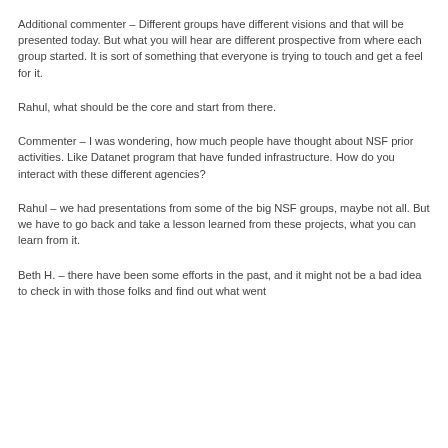Additional commenter – Different groups have different visions and that will be presented today. But what you will hear are different prospective from where each group started. It is sort of something that everyone is trying to touch and get a feel for it.
Rahul, what should be the core and start from there.
Commenter – I was wondering, how much people have thought about NSF prior activities. Like Datanet program that have funded infrastructure. How do you interact with these different agencies?
Rahul – we had presentations from some of the big NSF groups, maybe not all. But we have to go back and take a lesson learned from these projects, what you can learn from it.
Beth H. – there have been some efforts in the past, and it might not be a bad idea to check in with those folks and find out what went